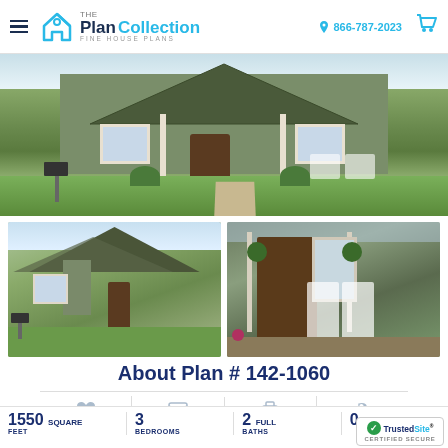The Plan Collection - FINE HOUSE PLANS | 866-787-2023
[Figure (photo): Front exterior photo of a green craftsman-style house with covered porch, rocking chairs, and landscaping]
[Figure (photo): Left thumbnail: front exterior of green craftsman house with gabled roof]
[Figure (photo): Right thumbnail: close-up of front porch with rocking chairs and hanging plants]
About Plan # 142-1060
PURCHASE THIS PLAN
1550 SQUARE FEET | 3 BEDROOMS | 2 FULL BATHS | 0